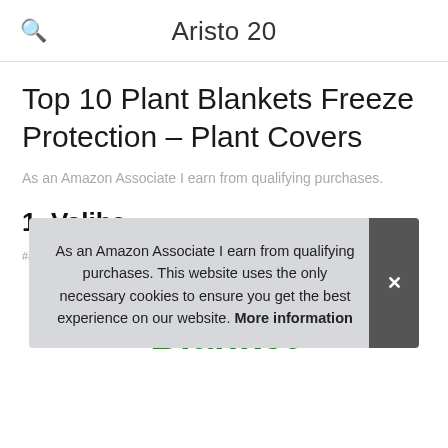Aristo 20
Top 10 Plant Blankets Freeze Protection – Plant Covers
As an Amazon Associate I earn from qualifying purchases.
1. Valibe
#ad
As an Amazon Associate I earn from qualifying purchases. This website uses the only necessary cookies to ensure you get the best experience on our website. More information